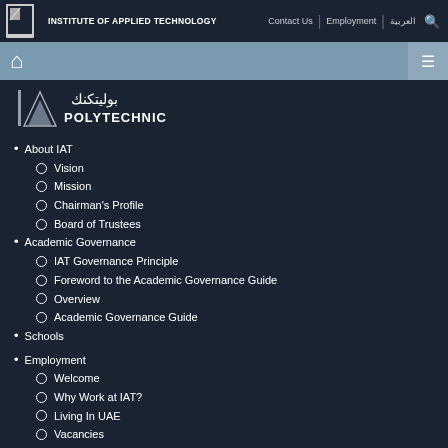INSTITUTE OF APPLIED TECHNOLOGY | Contact Us | Employment | العربية
[Figure (logo): Abu Dhabi Polytechnic logo with Arabic text and POLYTECHNIC wordmark]
About IAT
Vision
Mission
Chairman's Profile
Board of Trustees
Academic Governance
IAT Governance Principle
Foreword to the Academic Governance Guide
Overview
Academic Governance Guide
Schools
Employment
Welcome
Why Work at IAT?
Living In UAE
Vacancies
HR Unit
Useful Links